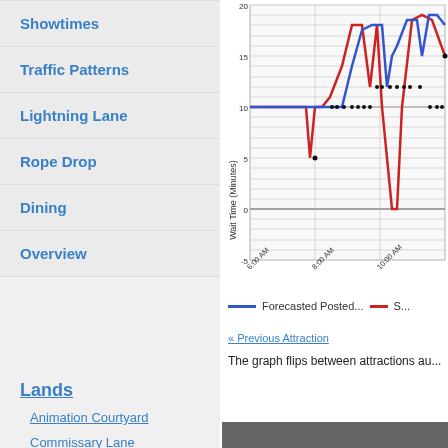Showtimes
Traffic Patterns
Lightning Lane
Rope Drop
Dining
Overview
Lands
Animation Courtyard
Commissary Lane
Echo Lake
Grand Avenue
Hollywood Boulevard
[Figure (line-chart): Line chart showing Forecasted Posted wait time (blue) and actual wait time (red) from approximately 6:00 AM to 10:00 AM+. Red line stays near 10 minutes, dips to near 0, then rises to about 18-20. Blue line rises to ~18, dips to ~14, then rises to ~20.]
Forecasted Posted...   S...
« Previous Attraction
The graph flips between attractions au...